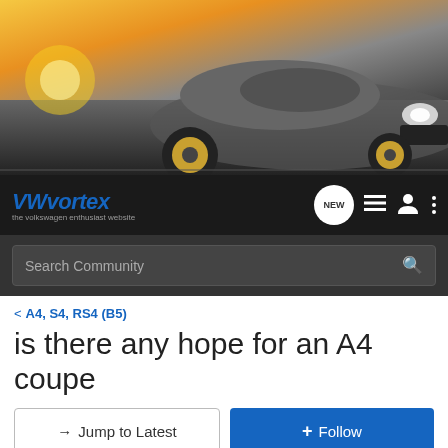[Figure (photo): VW GTI car driving on road at sunset, banner image for VWvortex forum]
VWvortex - the volkswagen enthusiast website
Search Community
< A4, S4, RS4 (B5)
is there any hope for an A4 coupe
→ Jump to Latest
+ Follow
1 - 15 of 15 Posts
jetta_tls · Registered
Joined Sep 3, 2001 · 542 Posts